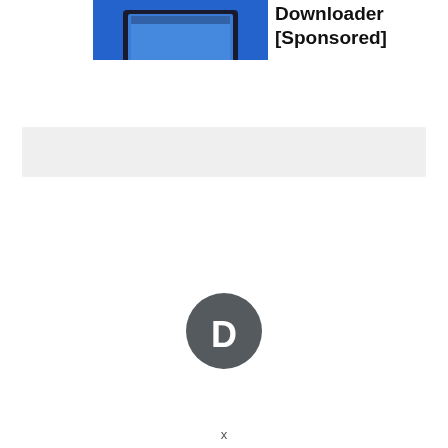[Figure (screenshot): Blue background ad image showing a laptop screen]
Downloader [Sponsored]
[Figure (other): Gray placeholder/ad bar]
[Figure (logo): Disqus logo — dark gray speech bubble with a D inside]
x